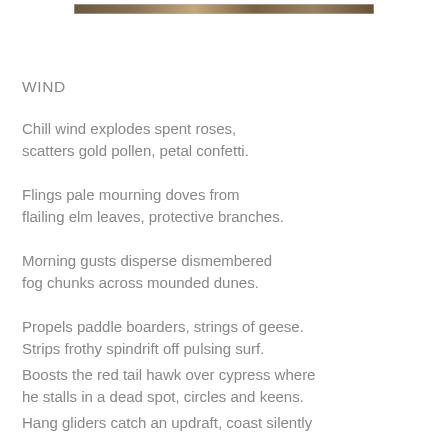[Figure (photo): A horizontal strip of a photograph showing warm brown and golden tones, appearing to be an outdoor scene, positioned at the top center of the page.]
WIND
Chill wind explodes spent roses,
scatters gold pollen, petal confetti.
Flings pale mourning doves from
flailing elm leaves, protective branches.
Morning gusts disperse dismembered
fog chunks across mounded dunes.
Propels paddle boarders, strings of geese.
Strips frothy spindrift off pulsing surf.
Boosts the red tail hawk over cypress where
he stalls in a dead spot, circles and keens.
Hang gliders catch an updraft, coast silently